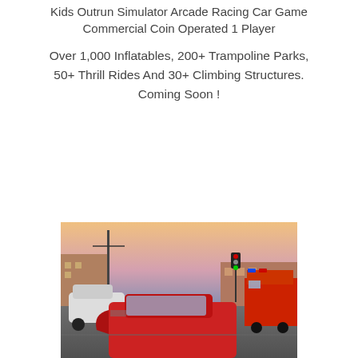Kids Outrun Simulator Arcade Racing Car Game Commercial Coin Operated 1 Player
Over 1,000 Inflatables, 200+ Trampoline Parks, 50+ Thrill Rides And 30+ Climbing Structures. Coming Soon !
[Figure (photo): Street scene at dusk showing a red car in the foreground that appears to have been in an accident, with a fire truck visible in the background right, other vehicles, traffic lights, and commercial buildings.]